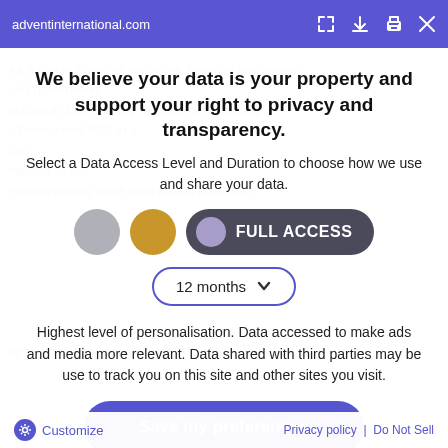adventinternational.com
We believe your data is your property and support your right to privacy and transparency.
Select a Data Access Level and Duration to choose how we use and share your data.
[Figure (infographic): Three access level buttons (gray circle, gold circle, purple circle with FULL ACCESS label) and a 12 months dropdown selector]
Highest level of personalisation. Data accessed to make ads and media more relevant. Data shared with third parties may be use to track you on this site and other sites you visit.
Save my preferences
Customize   Privacy policy | Do Not Sell